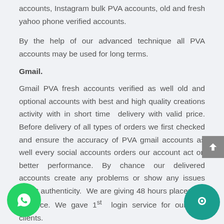accounts, Instagram bulk PVA accounts, old and fresh yahoo phone verified accounts.
By the help of our advanced technique all PVA accounts may be used for long terms.
Gmail.
Gmail PVA fresh accounts verified as well old and optional accounts with best and high quality creations activity with in short time delivery with valid price. Before delivery of all types of orders we first checked and ensure the accuracy of PVA gmail accounts as well every social accounts orders our account act on better performance. By chance our delivered accounts create any problems or show any issues about authenticity. We are giving 48 hours placement service. We gave 1st login service for our new clients.